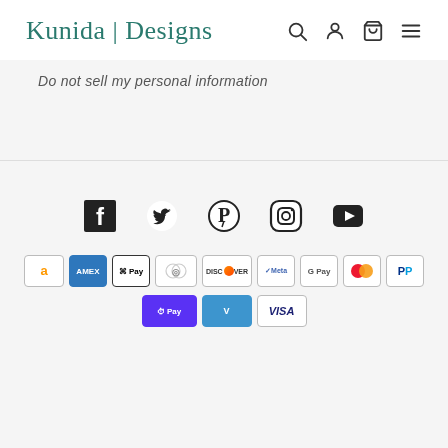Kunida | Designs
Do not sell my personal information
[Figure (other): Social media icons: Facebook, Twitter, Pinterest, Instagram, YouTube]
[Figure (other): Payment method icons: Amazon, Amex, Apple Pay, Diners Club, Discover, Meta Pay, Google Pay, Mastercard, PayPal, Shop Pay, Venmo, Visa]